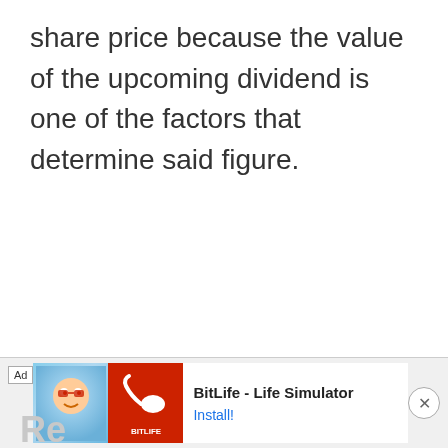share price because the value of the upcoming dividend is one of the factors that determine said figure.
[Figure (other): Advertisement banner for BitLife - Life Simulator app with install button and close button]